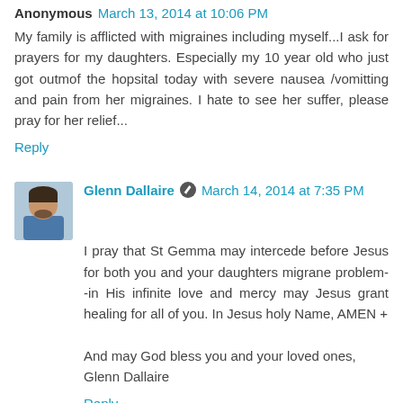Anonymous March 13, 2014 at 10:06 PM
My family is afflicted with migraines including myself...I ask for prayers for my daughters. Especially my 10 year old who just got outmof the hopsital today with severe nausea /vomitting and pain from her migraines. I hate to see her suffer, please pray for her relief...
Reply
Glenn Dallaire March 14, 2014 at 7:35 PM
I pray that St Gemma may intercede before Jesus for both you and your daughters migrane problem--in His infinite love and mercy may Jesus grant healing for all of you. In Jesus holy Name, AMEN +

And may God bless you and your loved ones,
Glenn Dallaire
Reply
Anonymous April 22, 2014 at 11:03 PM